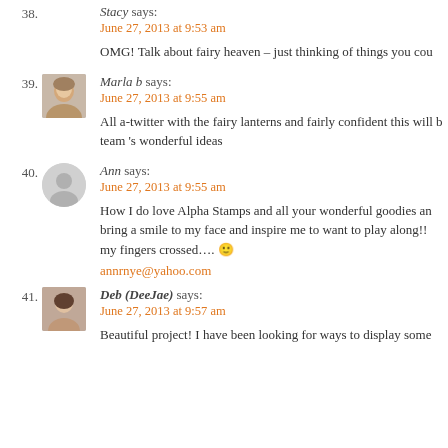38. Stacy says: June 27, 2013 at 9:53 am
OMG! Talk about fairy heaven – just thinking of things you cou…
39. Marla b says: June 27, 2013 at 9:55 am
All a-twitter with the fairy lanterns and fairly confident this will b… team 's wonderful ideas
40. Ann says: June 27, 2013 at 9:55 am
How I do love Alpha Stamps and all your wonderful goodies an… bring a smile to my face and inspire me to want to play along!! my fingers crossed…. 🙂
annrnye@yahoo.com
41. Deb (DeeJae) says: June 27, 2013 at 9:57 am
Beautiful project! I have been looking for ways to display some…